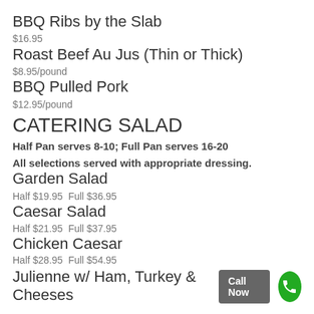BBQ Ribs by the Slab
$16.95
Roast Beef Au Jus (Thin or Thick)
$8.95/pound
BBQ Pulled Pork
$12.95/pound
CATERING SALAD
Half Pan serves 8-10; Full Pan serves 16-20
All selections served with appropriate dressing.
Garden Salad
Half $19.95  Full $36.95
Caesar Salad
Half $21.95  Full $37.95
Chicken Caesar
Half $28.95  Full $54.95
Julienne w/ Ham, Turkey & Cheeses